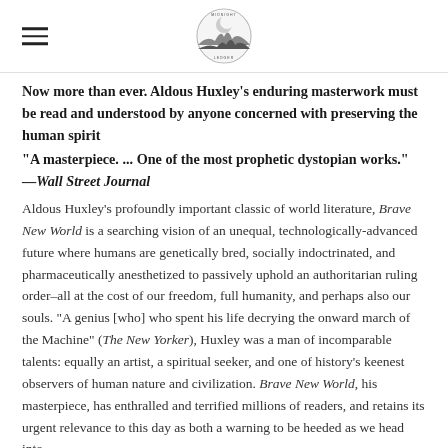Midnight Ledger (logo)
Now more than ever. Aldous Huxley's enduring masterwork must be read and understood by anyone concerned with preserving the human spirit
"A masterpiece. ... One of the most prophetic dystopian works." —Wall Street Journal
Aldous Huxley's profoundly important classic of world literature, Brave New World is a searching vision of an unequal, technologically-advanced future where humans are genetically bred, socially indoctrinated, and pharmaceutically anesthetized to passively uphold an authoritarian ruling order–all at the cost of our freedom, full humanity, and perhaps also our souls. "A genius [who] who spent his life decrying the onward march of the Machine" (The New Yorker), Huxley was a man of incomparable talents: equally an artist, a spiritual seeker, and one of history's keenest observers of human nature and civilization. Brave New World, his masterpiece, has enthralled and terrified millions of readers, and retains its urgent relevance to this day as both a warning to be heeded as we head into